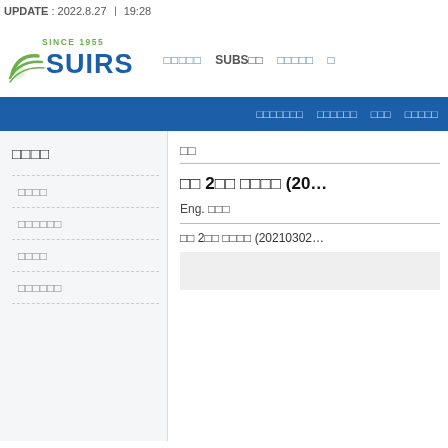UPDATE : 2022.8.27 ㅣ 19:28
[Figure (logo): SUIRS logo with green arc graphic and 'SINCE 1955' text, followed by navigation links]
Navigation bar with blue background containing menu links in Korean and one 'SUBS□□' item
□□□□ (Korean section title)
□□□□ (menu item 1)
□□□□□□ (menu item 2)
□□□□ (menu item 3)
□□□□□□ (menu item 4)
□□ (panel label)
□□ 2□□ □□□□ (20...
Eng. □□□
□□ 2□□ □□□□ (20210302...